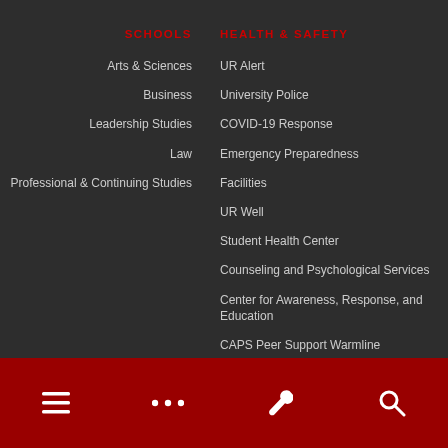SCHOOLS
Arts & Sciences
Business
Leadership Studies
Law
Professional & Continuing Studies
HEALTH & SAFETY
UR Alert
University Police
COVID-19 Response
Emergency Preparedness
Facilities
UR Well
Student Health Center
Counseling and Psychological Services
Center for Awareness, Response, and Education
CAPS Peer Support Warmline
Navigation bar with menu, more, tools, and search icons